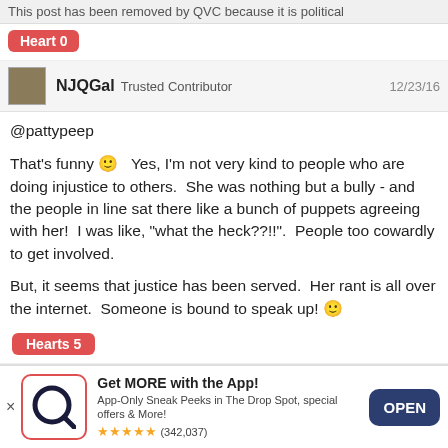This post has been removed by QVC because it is political
Heart 0
NJQGal Trusted Contributor  12/23/16
@pattypeep

That's funny 😊  Yes, I'm not very kind to people who are doing injustice to others.  She was nothing but a bully - and the people in line sat there like a bunch of puppets agreeing with her!  I was like, "what the heck??!!".  People too cowardly to get involved.

But, it seems that justice has been served.  Her rant is all over the internet.  Someone is bound to speak up! 😊
Hearts 5
WildFlowers Respected Contributor  12/23/16
Get MORE with the App!
App-Only Sneak Peeks in The Drop Spot, special offers & More!
★★★★★ (342,037)